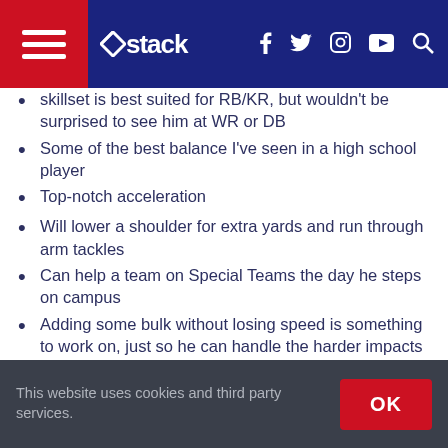stack navigation header
skillset is best suited for RB/KR, but wouldn't be surprised to see him at WR or DB
Some of the best balance I've seen in a high school player
Top-notch acceleration
Will lower a shoulder for extra yards and run through arm tackles
Can help a team on Special Teams the day he steps on campus
Adding some bulk without losing speed is something to work on, just so he can handle the harder impacts of college football over the course of a season
Player Comparison: Rex Burkhead or James White, RB,
This website uses cookies and third party services. OK